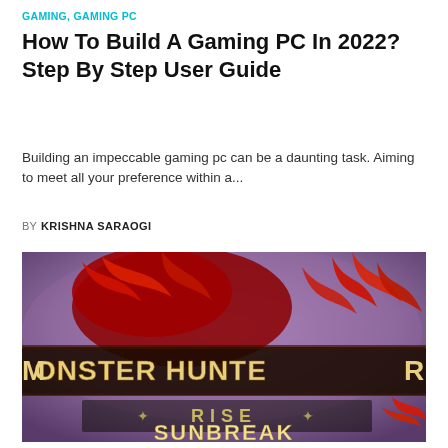GAMING, GAMING PC
How To Build A Gaming PC In 2022? Step By Step User Guide
Building an impeccable gaming pc can be a daunting task. Aiming to meet all your preference within a...
BY  KRISHNA SARAOGI
[Figure (photo): Monster Hunter Rise Sunbreak game logo with red dragon/monster imagery on a purple background, showing the text 'MONSTER HUNTER RISE SUNBREAK']